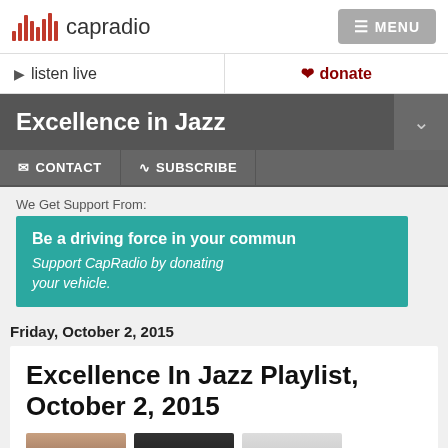capradio | MENU
▶ listen live | ❤ donate
Excellence in Jazz
✉ CONTACT   ⊕ SUBSCRIBE
We Get Support From:
[Figure (infographic): Teal advertisement box: 'Be a driving force in your community. Support CapRadio by donating your vehicle.']
Friday, October 2, 2015
Excellence In Jazz Playlist, October 2, 2015